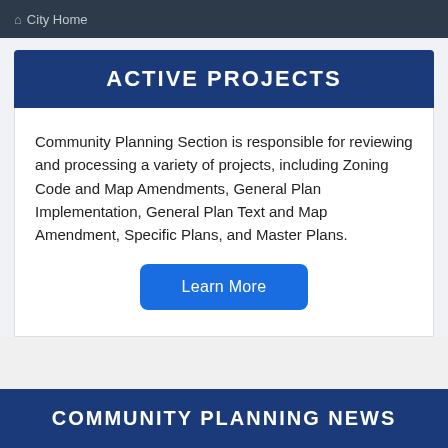City Home
ACTIVE PROJECTS
Community Planning Section is responsible for reviewing and processing a variety of projects, including Zoning Code and Map Amendments, General Plan Implementation, General Plan Text and Map Amendment, Specific Plans, and Master Plans.
Learn More
COMMUNITY PLANNING NEWS